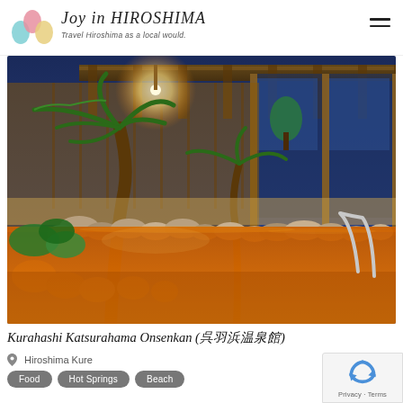Joy in HIROSHIMA — Travel Hiroshima as a local would.
[Figure (photo): Outdoor hot spring bath (rotenburo) at night, with orange/amber mineral water, palm trees, decorative rocks, and a wooden-and-glass building structure lit by warm lights against a blue dusk sky.]
Kurahashi Katsurahama Onsenkan (呉羽浜温泉館)
Hiroshima Kure
Food
Hot Springs
Beach